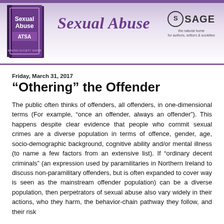[Figure (logo): Header banner for Sexual Abuse journal showing book cover on left, journal title 'Sexual Abuse' in italic purple in center, and SAGE publisher logo on right, with purple gradient background]
Friday, March 31, 2017
“Othering” the Offender
The public often thinks of offenders, all offenders, in one-dimensional terms (For example, “once an offender, always an offender”). This happens despite clear evidence that people who commit sexual crimes are a diverse population in terms of offence, gender, age, socio-demographic background, cognitive ability and/or mental illness (to name a few factors from an extensive list). If “ordinary decent criminals” (an expression used by paramilitaries in Northern Ireland to discuss non-paramilitary offenders, but is often expanded to cover way is seen as the mainstream offender population) can be a diverse population, then perpetrators of sexual abuse also vary widely in their actions, who they harm, the behavior-chain pathway they follow, and their risk